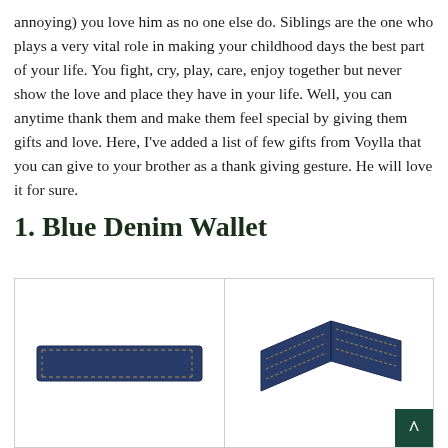annoying) you love him as no one else do. Siblings are the one who plays a very vital role in making your childhood days the best part of your life. You fight, cry, play, care, enjoy together but never show the love and place they have in your life. Well, you can anytime thank them and make them feel special by giving them gifts and love. Here, I've added a list of few gifts from Voylla that you can give to your brother as a thank giving gesture. He will love it for sure.
1. Blue Denim Wallet
[Figure (photo): Two product photos of a blue denim wallet. Left image shows the wallet closed (front view showing a rectangular blue denim exterior with stitching). Right image shows the wallet open/folded revealing inner card compartments in blue denim material. A dark green back-to-top button is visible in the lower right corner.]